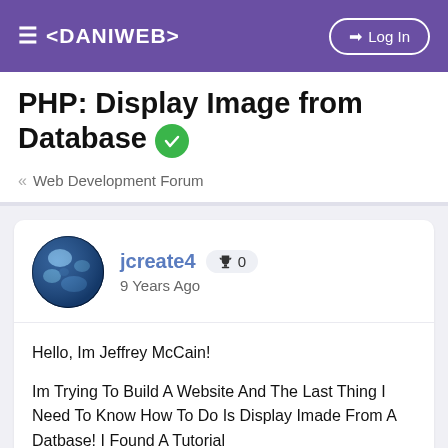≡ <DANIWEB>   ➔ Log In
PHP: Display Image from Database ✓
« Web Development Forum
jcreate4 🏆 0
9 Years Ago
Hello, Im Jeffrey McCain!

Im Trying To Build A Website And The Last Thing I Need To Know How To Do Is Display Imade From A Datbase! I Found A Tutorial
>http://www.codeofaninja.com/2011/02/how-to-resize-and-print-image-file-from.html < But I Don't understand How To Implement It! I Will Glady Pay ANOYONE Who Can Show